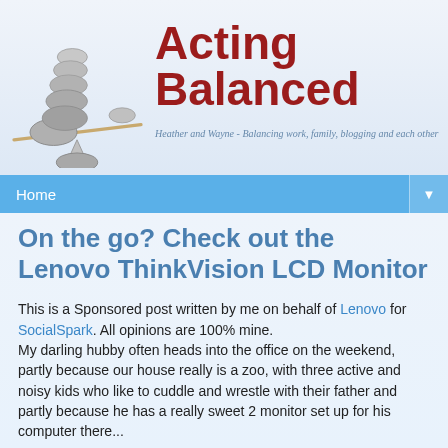[Figure (logo): Acting Balanced blog logo with stacked stones on a balance beam and the text 'Acting Balanced' in dark red, with tagline 'Heather and Wayne - Balancing work, family, blogging and each other']
Home
On the go? Check out the Lenovo ThinkVision LCD Monitor
This is a Sponsored post written by me on behalf of Lenovo for SocialSpark. All opinions are 100% mine.
My darling hubby often heads into the office on the weekend, partly because our house really is a zoo, with three active and noisy kids who like to cuddle and wrestle with their father and partly because he has a really sweet 2 monitor set up for his computer there...